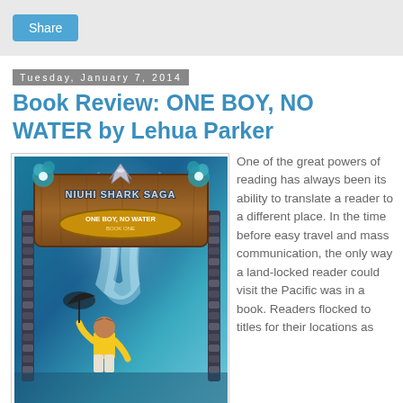[Figure (screenshot): Share button UI element on grey background]
Tuesday, January 7, 2014
Book Review: ONE BOY, NO WATER by Lehua Parker
[Figure (illustration): Book cover of 'Niuhi Shark Saga: One Boy, No Water, Book One' showing a boy in a yellow jacket, an umbrella, and a shark logo at the top, with teal/blue aquatic background]
One of the great powers of reading has always been its ability to translate a reader to a different place. In the time before easy travel and mass communication, the only way a land-locked reader could visit the Pacific was in a book. Readers flocked to titles for their locations as